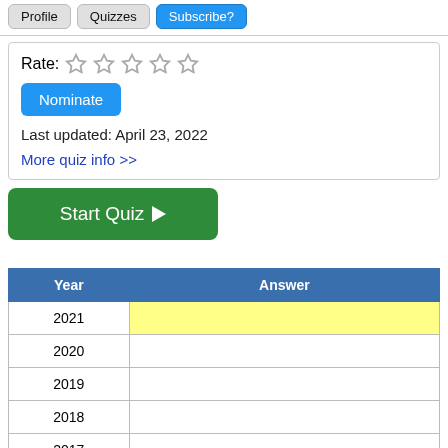Profile  Quizzes  Subscribe?
Rate: ☆☆☆☆☆
Nominate
Last updated: April 23, 2022
More quiz info >>
Start Quiz ▶
| Year | Answer |
| --- | --- |
| 2021 |  |
| 2020 |  |
| 2019 |  |
| 2018 |  |
| 2017 |  |